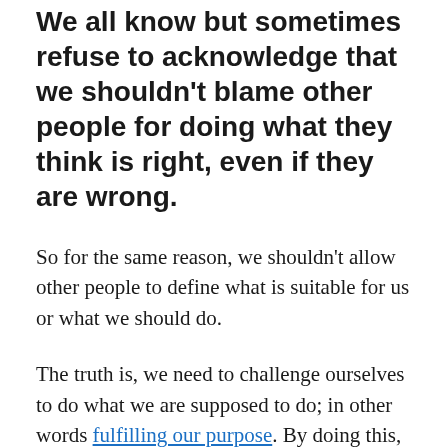We all know but sometimes refuse to acknowledge that we shouldn't blame other people for doing what they think is right, even if they are wrong.
So for the same reason, we shouldn't allow other people to define what is suitable for us or what we should do.
The truth is, we need to challenge ourselves to do what we are supposed to do; in other words fulfilling our purpose. By doing this, we make the world a better place because we live a meaningful life that helps us and the people around us live better.
The real problem is that we are made to believe that